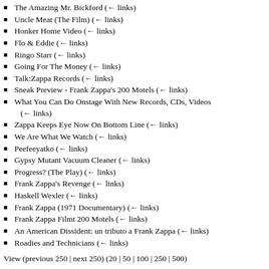The Amazing Mr. Bickford  (← links)
Uncle Meat (The Film)  (← links)
Honker Home Video  (← links)
Flo & Eddie  (← links)
Ringo Starr  (← links)
Going For The Money  (← links)
Talk:Zappa Records  (← links)
Sneak Preview - Frank Zappa's 200 Motels  (← links)
What You Can Do Onstage With New Records, CDs, Videos  (← links)
Zappa Keeps Eye Now On Bottom Line  (← links)
We Are What We Watch  (← links)
Peefeeyatko  (← links)
Gypsy Mutant Vacuum Cleaner  (← links)
Progress? (The Play)  (← links)
Frank Zappa's Revenge  (← links)
Haskell Wexler  (← links)
Frank Zappa (1971 Documentary)  (← links)
Frank Zappa Filmt 200 Motels  (← links)
An American Dissident: un tributo a Frank Zappa  (← links)
Roadies and Technicians  (← links)
View (previous 250 | next 250) (20 | 50 | 100 | 250 | 500)
Retrieved from
"http://wiki.ills.theonline.org/wiki/Special:WhatLinksHere/The_T..."